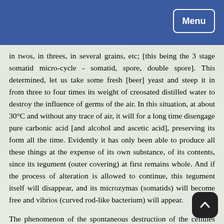Menu
in twos, in threes, in several grains, etc; [this being the 3 stage somatid micro-cycle - somatid, spore, double spore]. This determined, let us take some fresh [beer] yeast and steep it in from three to four times its weight of creosated distilled water to destroy the influence of germs of the air. In this situation, at about 30°C and without any trace of air, it will for a long time disengage pure carbonic acid [and alcohol and ascetic acid], preserving its form all the time. Evidently it has only been able to produce all these things at the expense of its own substance, of its contents, since its tegument (outer covering) at first remains whole. And if the process of alteration is allowed to continue, this tegument itself will disappear, and its microzymas (somatids) will become free and vibrios (curved rod-like bacterium) will appear.
The phenomenon of the spontaneous destruction of the cellules (cells) of beer yeast has enabled me to confirm the generality of the fact which I had long before observed in studying the microzymian (somatid) origin of the vibrioniens (curved rod bacterium). While the [cell] globule of yeast is being destroyed and its microzymas (somatids) set free and begin to undergo